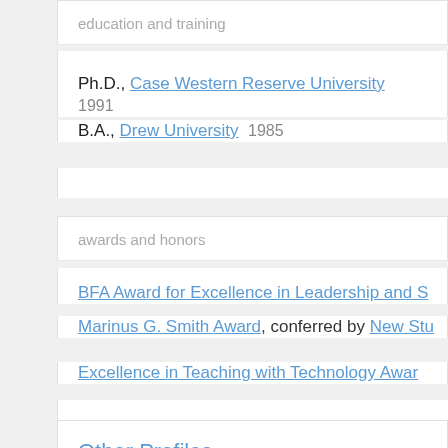education and training
Ph.D., Case Western Reserve University  1991
B.A., Drew University  1985
awards and honors
BFA Award for Excellence in Leadership and S…
Marinus G. Smith Award, conferred by New Stu…
Excellence in Teaching with Technology Awar…
Other Profiles